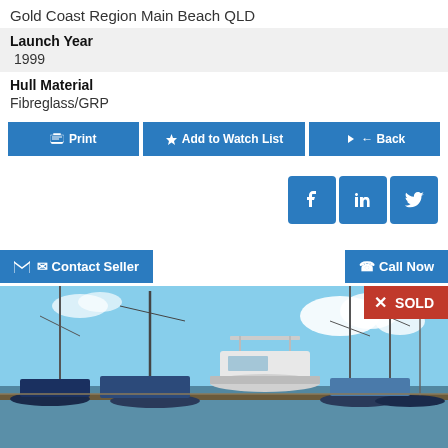Gold Coast Region Main Beach QLD
Launch Year
1999
Hull Material
Fibreglass/GRP
Print
Add to Watch List
Back
[Figure (screenshot): Social media icons: Facebook, LinkedIn, Twitter]
Contact Seller
Call Now
[Figure (photo): Photo of marina with sailboats and a motorboat; SOLD label in red in top-right corner]